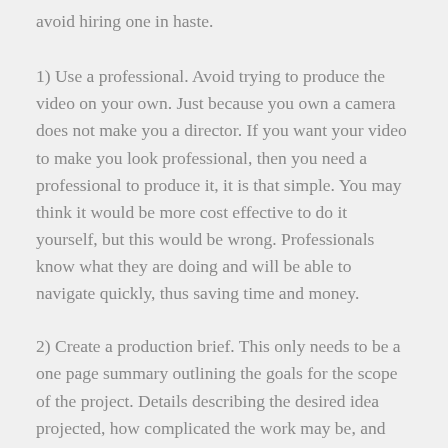avoid hiring one in haste.
1) Use a professional. Avoid trying to produce the video on your own. Just because you own a camera does not make you a director. If you want your video to make you look professional, then you need a professional to produce it, it is that simple. You may think it would be more cost effective to do it yourself, but this would be wrong. Professionals know what they are doing and will be able to navigate quickly, thus saving time and money.
2) Create a production brief. This only needs to be a one page summary outlining the goals for the scope of the project. Details describing the desired idea projected, how complicated the work may be, and other specifics you want the production group to